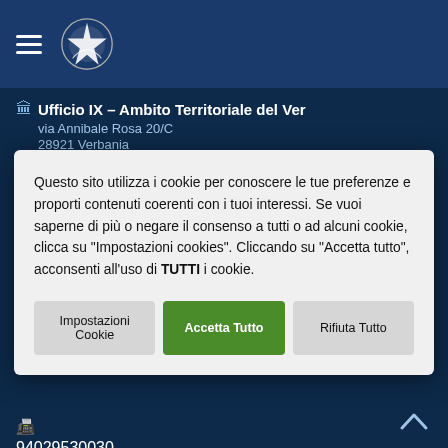Ufficio IX – Ambito Territoriale del Verbano
via Annibale Rosa 20/C
28921 Verbania
Questo sito utilizza i cookie per conoscere le tue preferenze e proporti contenuti coerenti con i tuoi interessi. Se vuoi saperne di più o negare il consenso a tutti o ad alcuni cookie, clicca su "Impostazioni cookies". Cliccando su "Accetta tutto", acconsenti all'uso di TUTTI i cookie.
94029530030
Cod. Univoco 8MXTUA